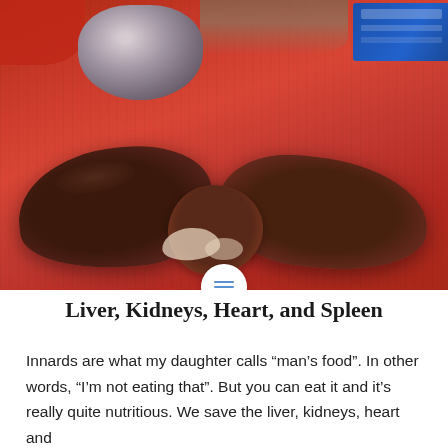[Figure (photo): Photograph of raw organ meats (liver, kidneys, and other innards) placed on a red cloth/towel on a kitchen counter. A metal mixing bowl and a blue box are visible in the background. A white circle with a menu icon appears at the bottom center of the image.]
Liver, Kidneys, Heart, and Spleen
Innards are what my daughter calls “man’s food”.  In other words, “I’m not eating that”.  But you can eat it and it’s really quite nutritious.  We save the liver, kidneys, heart and